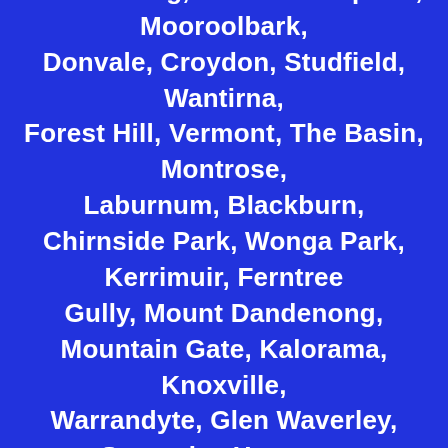Heathwood, Heathmont, Ringwood, Bayswater, Rangeview, Mitcham, Warranwood, Park Orchards, Vermont, Kilsyth, Boronia, Nunawading, Brentford Square, Mooroolbark, Donvale, Croydon, Studfield, Wantirna, Forest Hill, Vermont, The Basin, Montrose, Laburnum, Blackburn, Chirnside Park, Wonga Park, Kerrimuir, Ferntree Gully, Mount Dandenong, Mountain Gate, Kalorama, Knoxville, Warrandyte, Glen Waverley, Scoresby, Houston, Box Hill, Doncaster, Tremont, Olinda, Lilydale, Syndal, Templestowe, Upper FerntreeGully, Mount Evelyn, Ferny Creek, Burwood,